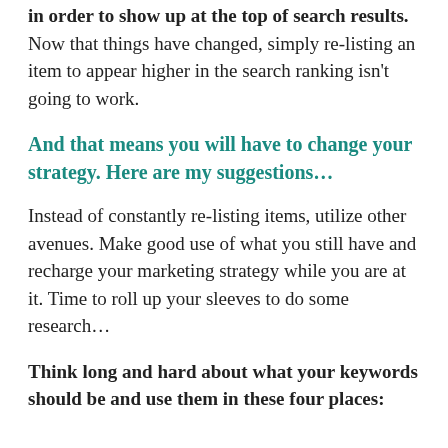in order to show up at the top of search results. Now that things have changed, simply re-listing an item to appear higher in the search ranking isn't going to work.
And that means you will have to change your strategy. Here are my suggestions…
Instead of constantly re-listing items, utilize other avenues. Make good use of what you still have and recharge your marketing strategy while you are at it. Time to roll up your sleeves to do some research…
Think long and hard about what your keywords should be and use them in these four places: